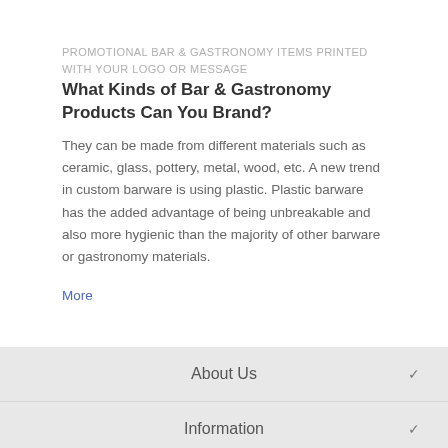PROMOTIONAL BAR & GASTRONOMY ITEMS PRINTED WITH YOUR LOGO OR MESSAGE
What Kinds of Bar & Gastronomy Products Can You Brand?
They can be made from different materials such as ceramic, glass, pottery, metal, wood, etc. A new trend in custom barware is using plastic. Plastic barware has the added advantage of being unbreakable and also more hygienic than the majority of other barware or gastronomy materials.
More
About Us
Information